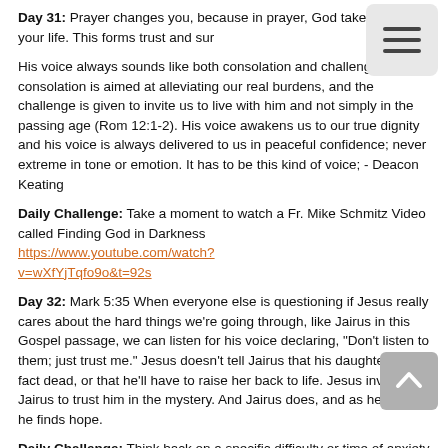Day 31: Prayer changes you, because in prayer, God takes over your life. This forms trust and sur[render]…
His voice always sounds like both consolation and challenge. The consolation is aimed at alleviating our real burdens, and the challenge is given to invite us to live with him and not simply in the passing age (Rom 12:1-2). His voice awakens us to our true dignity and his voice is always delivered to us in peaceful confidence; never extreme in tone or emotion. It has to be this kind of voice; - Deacon Keating
Daily Challenge: Take a moment to watch a Fr. Mike Schmitz Video called Finding God in Darkness https://www.youtube.com/watch?v=wXfYjTqfo9o&t=92s
Day 32: Mark 5:35 When everyone else is questioning if Jesus really cares about the hard things we're going through, like Jairus in this Gospel passage, we can listen for his voice declaring, "Don't listen to them; just trust me." Jesus doesn't tell Jairus that his daughter is in fact dead, or that he'll have to raise her back to life. Jesus invites Jairus to trust him in the mystery. And Jairus does, and as he does, he finds hope.
Daily Challenge: Think back on a specific difficulty or time of anxiety in your life. Try and remember specific ways God gave you strength (other people, books, faith…) and spend a few moments renewing your trust